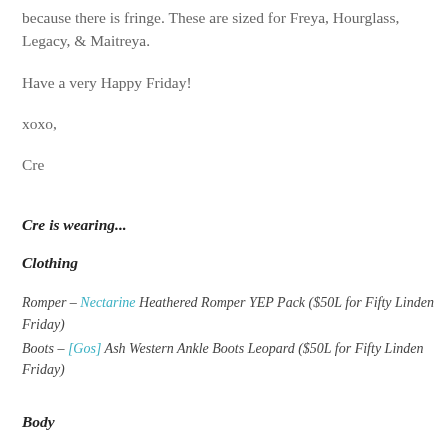because there is fringe. These are sized for Freya, Hourglass, Legacy, & Maitreya.
Have a very Happy Friday!
xoxo,
Cre
Cre is wearing...
Clothing
Romper – Nectarine Heathered Romper YEP Pack ($50L for Fifty Linden Friday)
Boots – [Gos] Ash Western Ankle Boots Leopard ($50L for Fifty Linden Friday)
Body